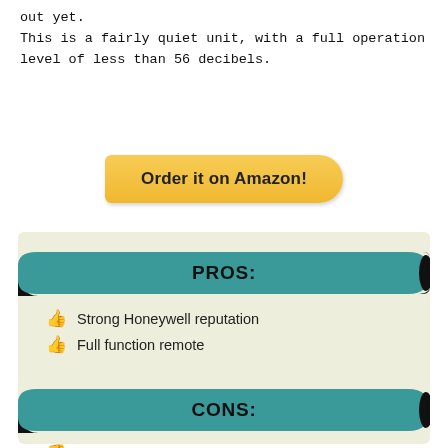out yet.
This is a fairly quiet unit, with a full operation level of less than 56 decibels.
[Figure (other): Yellow rounded button with text 'Order it on Amazon!']
[Figure (infographic): Pros and Cons infographic box with teal banners. PROS: Strong Honeywell reputation, Full function remote. CONS: Disappointing CFM output.]